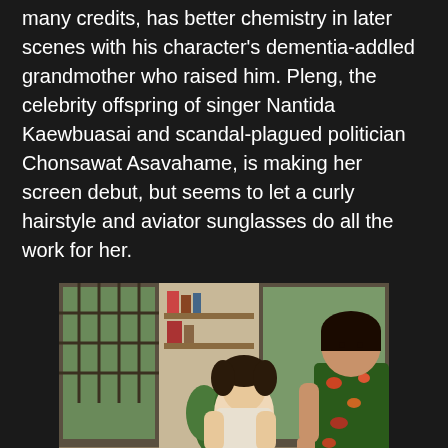many credits, has better chemistry in later scenes with his character's dementia-addled grandmother who raised him. Pleng, the celebrity offspring of singer Nantida Kaewbuasai and scandal-plagued politician Chonsawat Asavahame, is making her screen debut, but seems to let a curly hairstyle and aviator sunglasses do all the work for her.
[Figure (photo): A film still showing two characters in a cluttered interior room. A young man with shaggy dark hair sits at a desk wearing a white t-shirt, looking up at a larger woman standing beside him wearing a floral shirt. The room has shelves, books, and plants visible through windows in the background.]
The supporting cast, especially the Tukky-type actress who plays Pang's best friend and manager, help to liven things up. She is friends with soldiers at the local army base, and they turn up on command to dish out beatings to anyone getting on her wrong side. Boriboon Chanruang portrays a